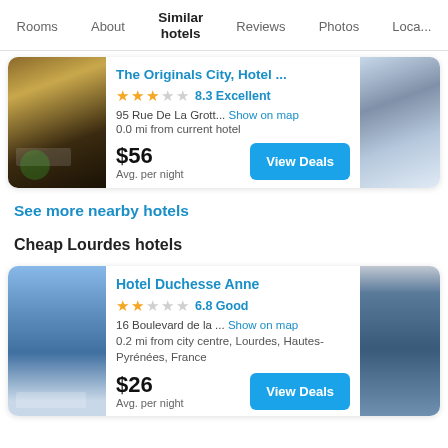Rooms | About | Similar hotels | Reviews | Photos | Loca...
The Originals City, Hotel ...
★★★☆☆ 8.3 Excellent
95 Rue De La Grott... Show on map
0.0 mi from current hotel
$56 Avg. per night
See more nearby hotels
Cheap Lourdes hotels
Hotel Duchesse Anne
★★☆☆☆ 6.8 Good
16 Boulevard de la ... Show on map
0.2 mi from city centre, Lourdes, Hautes-Pyrénées, France
$26 Avg. per night